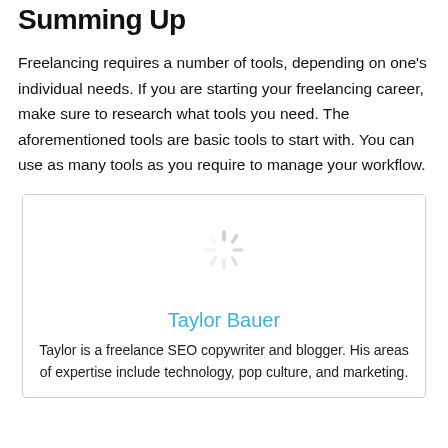Summing Up
Freelancing requires a number of tools, depending on one’s individual needs. If you are starting your freelancing career, make sure to research what tools you need. The aforementioned tools are basic tools to start with. You can use as many tools as you require to manage your workflow.
[Figure (photo): Author profile photo placeholder with loading spinner icon]
Taylor Bauer
Taylor is a freelance SEO copywriter and blogger. His areas of expertise include technology, pop culture, and marketing.